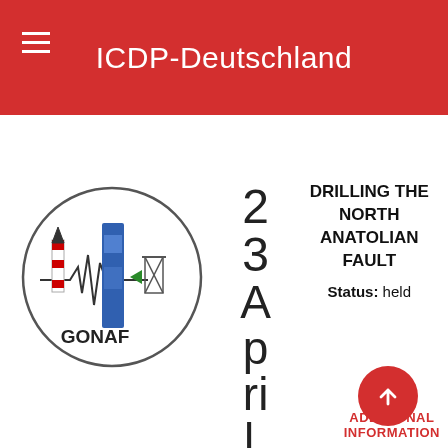ICDP-Deutschland
HELD | ANNOUNCED
[Figure (logo): GONAF circular logo with drilling equipment silhouettes and seismic waveform, text 'GONAF' inside]
23 April, 2007
DRILLING THE NORTH ANATOLIAN FAULT
Status: held
ADDITIONAL INFORMATION